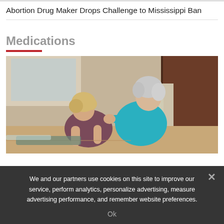Abortion Drug Maker Drops Challenge to Mississippi Ban
Medications
[Figure (photo): Two women, one with curly blonde hair wearing a dark top and one with silver-grey hair wearing a teal top, appear to be in a yoga or wellness setting on the floor indoors, surrounded by canvases and artwork.]
We and our partners use cookies on this site to improve our service, perform analytics, personalize advertising, measure advertising performance, and remember website preferences.
Ok